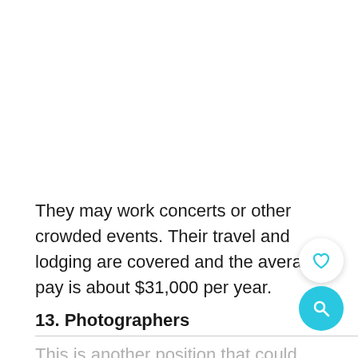They may work concerts or other crowded events. Their travel and lodging are covered and the average pay is about $31,000 per year.
13. Photographers
This is another position that could have